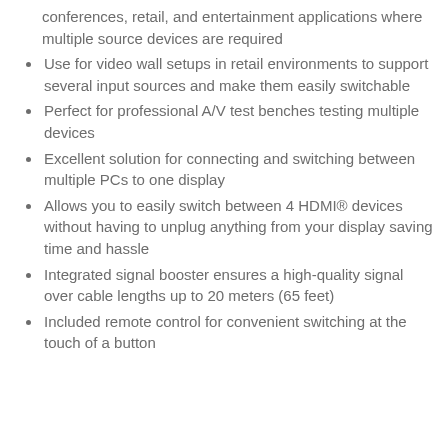conferences, retail, and entertainment applications where multiple source devices are required
Use for video wall setups in retail environments to support several input sources and make them easily switchable
Perfect for professional A/V test benches testing multiple devices
Excellent solution for connecting and switching between multiple PCs to one display
Allows you to easily switch between 4 HDMI® devices without having to unplug anything from your display saving time and hassle
Integrated signal booster ensures a high-quality signal over cable lengths up to 20 meters (65 feet)
Included remote control for convenient switching at the touch of a button